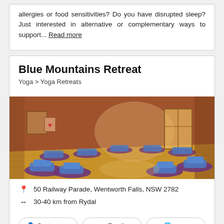allergies or food sensitivities? Do you have disrupted sleep?Just interested in alternative or complementary ways to support... Read more
Blue Mountains Retreat
Yoga > Yoga Retreats
[Figure (photo): Interior of a yoga retreat room with warm orange/terracotta walls, wooden floor, and blue meditation cushions arranged in a circle. Natural light streams through a window and glass door at the far end.]
50 Railway Parade, Wentworth Falls, NSW 2782
30-40 km from Rydal
Contact me | Email | www